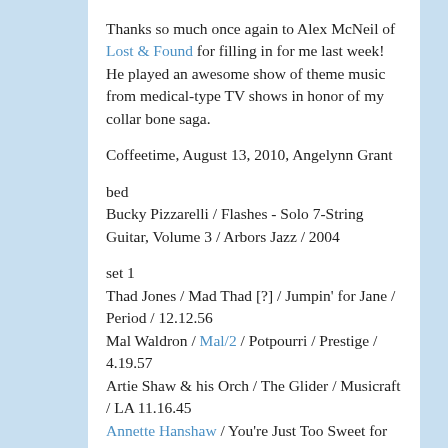Thanks so much once again to Alex McNeil of Lost & Found for filling in for me last week! He played an awesome show of theme music from medical-type TV shows in honor of my collar bone saga.
Coffeetime, August 13, 2010, Angelynn Grant
bed
Bucky Pizzarelli / Flashes - Solo 7-String Guitar, Volume 3 / Arbors Jazz / 2004
set 1
Thad Jones / Mad Thad [?] / Jumpin' for Jane / Period / 12.12.56
Mal Waldron / Mal/2 / Potpourri / Prestige / 4.19.57
Artie Shaw & his Orch / The Glider / Musicraft / LA 11.16.45
Annette Hanshaw / You're Just Too Sweet for Words, Honey o' Mine / Clarion / 2.20.31
The Ravens / How Could I Know / National / 12.22.47